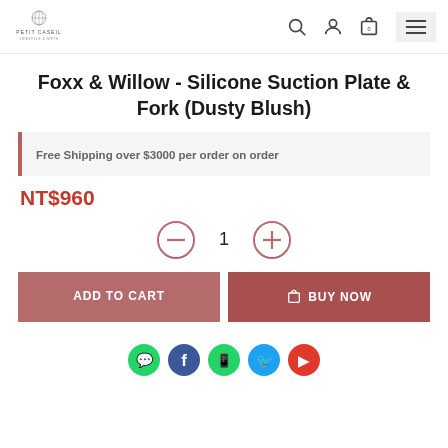Petit Caseil (logo and navigation icons)
Foxx & Willow - Silicone Suction Plate & Fork (Dusty Blush)
Free Shipping over $3000 per order on order
NT$960
1
ADD TO CART
BUY NOW